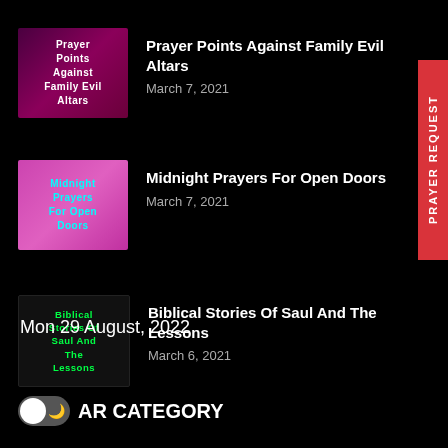[Figure (screenshot): Thumbnail image with text 'Prayer Points Against Family Evil Altars' on dark purple/pink background]
Prayer Points Against Family Evil Altars
March 7, 2021
[Figure (screenshot): Thumbnail image with text 'Midnight Prayers For Open Doors' on bright pink/magenta background]
Midnight Prayers For Open Doors
March 7, 2021
[Figure (screenshot): Thumbnail image with text 'Biblical Stories Of Saul And The Lessons' on dark background with green text]
Biblical Stories Of Saul And The Lessons
March 6, 2021
Mon 29 August, 2022
AR CATEGORY